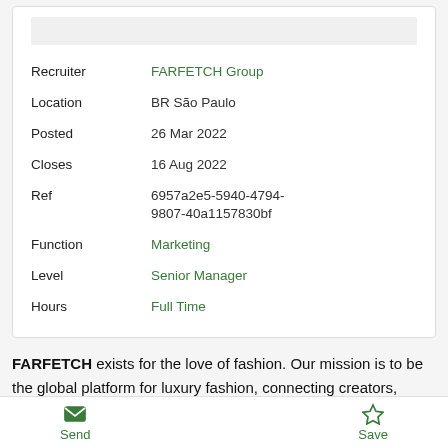| Field | Value |
| --- | --- |
| Recruiter | FARFETCH Group |
| Location | BR São Paulo |
| Posted | 26 Mar 2022 |
| Closes | 16 Aug 2022 |
| Ref | 6957a2e5-5940-4794-9807-40a1157830bf |
| Function | Marketing |
| Level | Senior Manager |
| Hours | Full Time |
FARFETCH exists for the love of fashion. Our mission is to be the global platform for luxury fashion, connecting creators, curators and consumers.
Send  Save